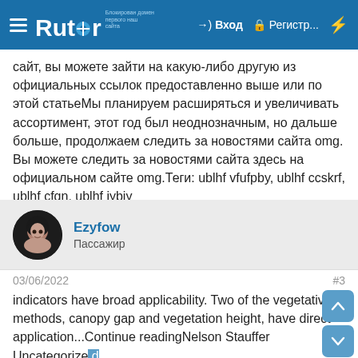Rutor — Вход — Регистр...
сайт, вы можете зайти на какую-либо другую из официальных ссылок предоставленно выше или по этой статьеМы планируем расширяться и увеличивать ассортимент, этот год был неоднозначным, но дальше больше, продолжаем следить за новостями сайта omg. Вы можете следить за новостями сайта здесь на официальном сайте omg.Теги: ublhf vfufpby, ublhf ccskrf, ublhf cfqn, ublhf jybjy
Ezyfow
Пассажир
03/06/2022
#3
indicators have broad applicability. Two of the vegetative methods, canopy gap and vegetation height, have direct application...Continue readingNelson Stauffer Uncategorized 0Quality Assurance (QA) and Quality Control (QC) are both critical to data quality in ecological research and both are often